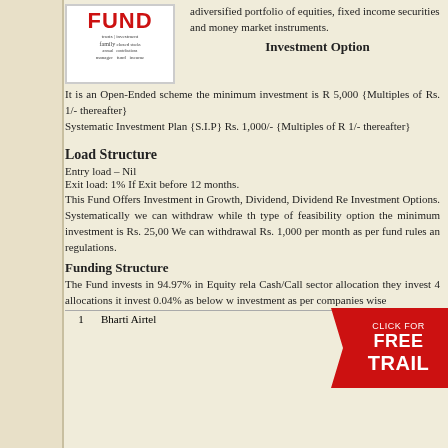[Figure (logo): FUND logo with word cloud of investment-related terms]
adiversified portfolio of equities, fixed income securities and money market instruments.
Investment Option
It is an Open-Ended scheme the minimum investment is Rs. 5,000 {Multiples of Rs. 1/- thereafter}
Systematic Investment Plan {S.I.P} Rs. 1,000/- {Multiples of Rs. 1/- thereafter}
Load Structure
Entry load – Nil
Exit load: 1% If Exit before 12 months.
This Fund Offers Investment in Growth, Dividend, Dividend Re Investment Options. Systematically we can withdraw while the type of feasibility option the minimum investment is Rs. 25,000. We can withdrawal Rs. 1,000 per month as per fund rules and regulations.
Funding Structure
The Fund invests in 94.97% in Equity related Cash/Call sector allocation they invest 4 allocations it invest 0.04% as below with investment as per companies wise
|  | Company | Percentage |
| --- | --- | --- |
| 1 | Bharti Airtel | 5.10% |